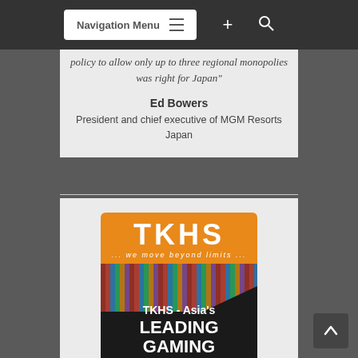Navigation Menu
policy to allow only up to three regional monopolies was right for Japan"
Ed Bowers
President and chief executive of MGM Resorts Japan
[Figure (illustration): TKHS advertisement banner showing orange logo box with 'TKHS ... we move beyond limits...' text, a decorative festival/market scene photo, dark lower portion with white bold text reading 'TKHS - Asia's LEADING GAMING']